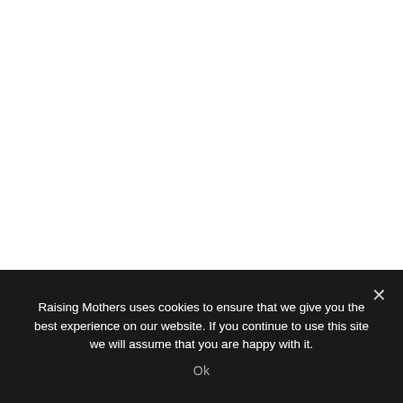Raising Mothers uses cookies to ensure that we give you the best experience on our website. If you continue to use this site we will assume that you are happy with it.
Ok